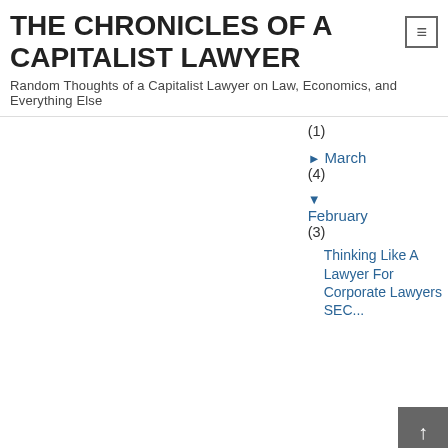THE CHRONICLES OF A CAPITALIST LAWYER
Random Thoughts of a Capitalist Lawyer on Law, Economics, and Everything Else
(1)
► March (4)
▼ February (3)
Thinking Like A Lawyer For Corporate Lawyers SEC...